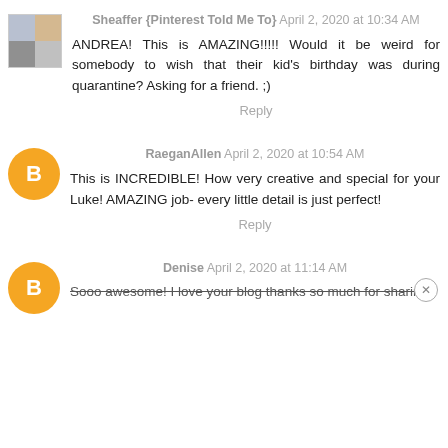Sheaffer {Pinterest Told Me To} April 2, 2020 at 10:34 AM
ANDREA! This is AMAZING!!!!! Would it be weird for somebody to wish that their kid's birthday was during quarantine? Asking for a friend. ;)
Reply
RaeganAllen April 2, 2020 at 10:54 AM
This is INCREDIBLE! How very creative and special for your Luke! AMAZING job- every little detail is just perfect!
Reply
Denise April 2, 2020 at 11:14 AM
Sooo awesome! I love your blog thanks so much for sharing!